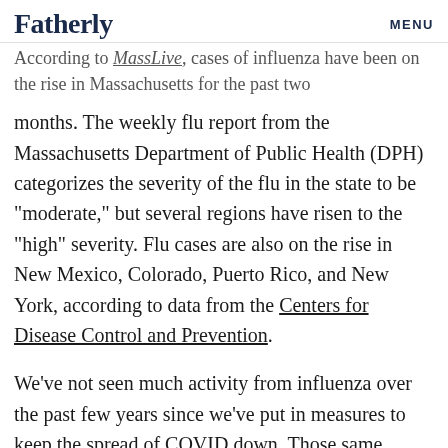Fatherly | MENU
According to MassLive, cases of influenza have been on the rise in Massachusetts for the past two months. The weekly flu report from the Massachusetts Department of Public Health (DPH) categorizes the severity of the flu in the state to be “moderate,” but several regions have risen to the “high” severity. Flu cases are also on the rise in New Mexico, Colorado, Puerto Rico, and New York, according to data from the Centers for Disease Control and Prevention.
We’ve not seen much activity from influenza over the past few years since we’ve put in measures to keep the spread of COVID down. Those same measures helped keep the number of flu cases near